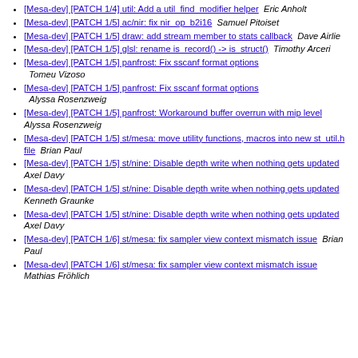[Mesa-dev] [PATCH 1/4] util: Add a util_find_modifier helper  Eric Anholt
[Mesa-dev] [PATCH 1/5] ac/nir: fix nir_op_b2i16  Samuel Pitoiset
[Mesa-dev] [PATCH 1/5] draw: add stream member to stats callback  Dave Airlie
[Mesa-dev] [PATCH 1/5] glsl: rename is_record() -> is_struct()  Timothy Arceri
[Mesa-dev] [PATCH 1/5] panfrost: Fix sscanf format options  Tomeu Vizoso
[Mesa-dev] [PATCH 1/5] panfrost: Fix sscanf format options  Alyssa Rosenzweig
[Mesa-dev] [PATCH 1/5] panfrost: Workaround buffer overrun with mip level  Alyssa Rosenzweig
[Mesa-dev] [PATCH 1/5] st/mesa: move utility functions, macros into new st_util.h file  Brian Paul
[Mesa-dev] [PATCH 1/5] st/nine: Disable depth write when nothing gets updated  Axel Davy
[Mesa-dev] [PATCH 1/5] st/nine: Disable depth write when nothing gets updated  Kenneth Graunke
[Mesa-dev] [PATCH 1/5] st/nine: Disable depth write when nothing gets updated  Axel Davy
[Mesa-dev] [PATCH 1/6] st/mesa: fix sampler view context mismatch issue  Brian Paul
[Mesa-dev] [PATCH 1/6] st/mesa: fix sampler view context mismatch issue  Mathias Fröhlich